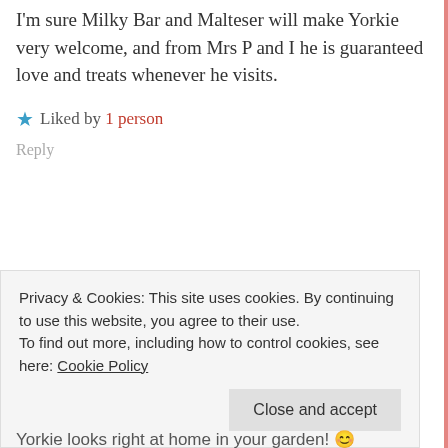I'm sure Milky Bar and Malteser will make Yorkie very welcome, and from Mrs P and I he is guaranteed love and treats whenever he visits.
★ Liked by 1 person
Reply
Privacy & Cookies: This site uses cookies. By continuing to use this website, you agree to their use.
To find out more, including how to control cookies, see here: Cookie Policy
Close and accept
Yorkie looks right at home in your garden! 😊